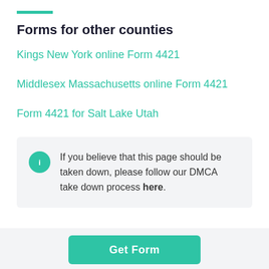Forms for other counties
Kings New York online Form 4421
Middlesex Massachusetts online Form 4421
Form 4421 for Salt Lake Utah
If you believe that this page should be taken down, please follow our DMCA take down process here.
Get Form